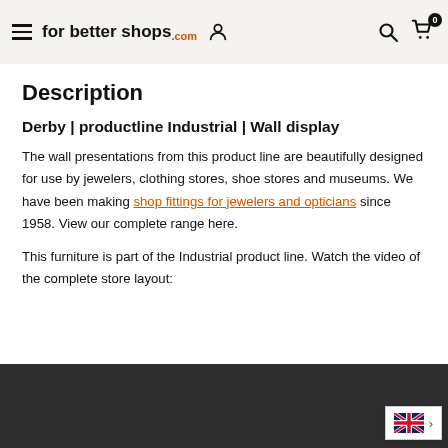for better shops .com
Description
Derby | productline Industrial | Wall display
The wall presentations from this product line are beautifully designed for use by jewelers, clothing stores, shoe stores and museums. We have been making shop fittings for jewelers and opticians since 1958. View our complete range here.
This furniture is part of the Industrial product line. Watch the video of the complete store layout:
[Figure (screenshot): Dark video player placeholder at the bottom of the page, with a UK flag language selector widget in the bottom-right corner]